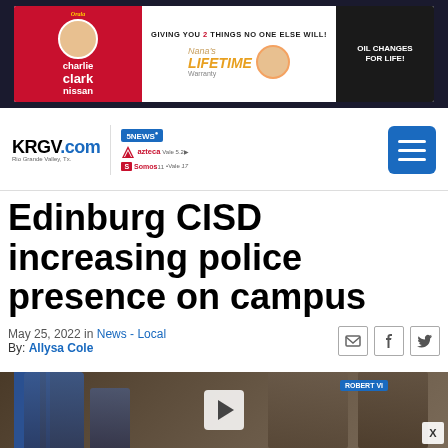[Figure (photo): Advertisement banner: Charlie Clark Nissan with Nana's Lifetime Warranty Oil Changes for Life]
KRGV.com Rio Grande Valley, Tx. | 5 News | Azteca | Somos
Edinburg CISD increasing police presence on campus
May 25, 2022 in News - Local
By: Allysa Cole
[Figure (photo): Police officers and staff in a school corridor at Edinburg CISD. A play button overlay is visible indicating a video. A partial sign reading ROBERT VI is visible in the background.]